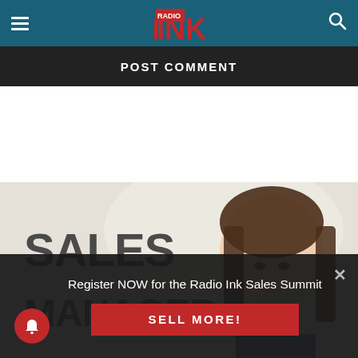Radio INK logo navigation bar with hamburger menu and search icon
POST COMMENT
[Figure (illustration): Sales Manager advertisement banner showing bold text 'SALES MANAGER' on light background with photo of smiling young Asian woman]
Register NOW for the Radio Ink Sales Summit
SELL MORE!